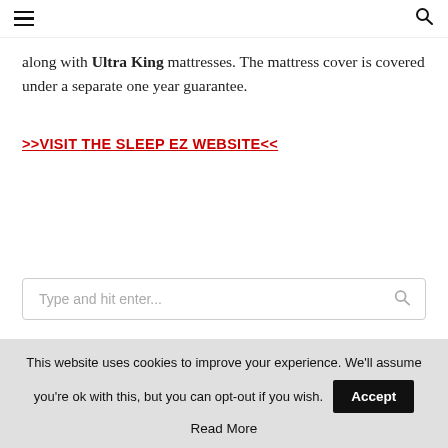☰  🔍
along with Ultra King mattresses. The mattress cover is covered under a separate one year guarantee.
>>VISIT THE SLEEP EZ WEBSITE<<
Type and hit enter...
This website uses cookies to improve your experience. We'll assume you're ok with this, but you can opt-out if you wish. Accept
Read More